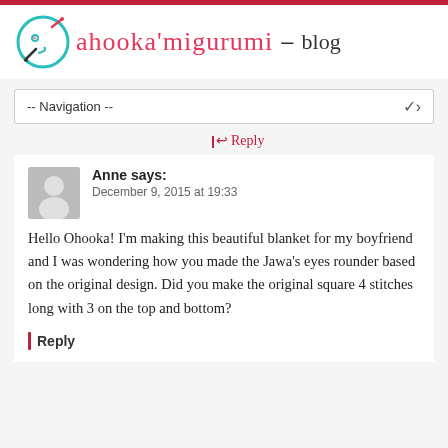ahooka'migurumi – blog
-- Navigation --
↩ Reply
Anne says:
December 9, 2015 at 19:33

Hello Ohooka! I'm making this beautiful blanket for my boyfriend and I was wondering how you made the Jawa's eyes rounder based on the original design. Did you make the original square 4 stitches long with 3 on the top and bottom?
Reply